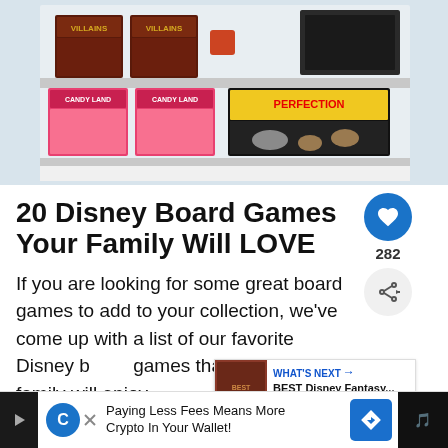[Figure (photo): Shelves displaying board games including Disney Villains, Candy Land, and Perfection game boxes]
20 Disney Board Games Your Family Will LOVE
If you are looking for some great board games to add to your collection, we've come up with a list of our favorite Disney board games that we think your family will enjoy
[Figure (infographic): WHAT'S NEXT - BEST Disney Fantasy... promotional widget]
Paying Less Fees Means More Crypto In Your Wallet!